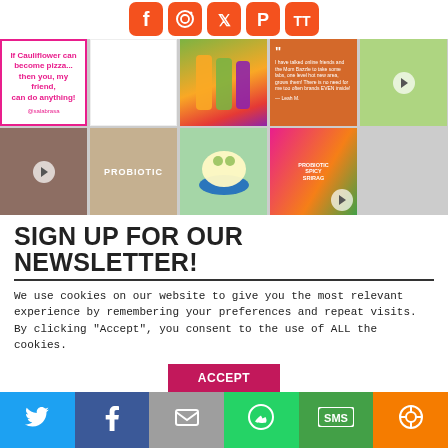[Figure (other): Social media icon buttons row: Facebook, Instagram, Twitter, Pinterest, TikTok — orange/red rounded icons at top]
[Figure (other): Instagram photo grid — 2 rows of 5 images: pink box with cauliflower quote, blank white cell, colorful jars of product, amber jar with quote, taco food photo, dog photo, woman with mask holding product probiotic, soup bowl, Probiotic Sriracha product label]
SIGN UP FOR OUR NEWSLETTER!
We use cookies on our website to give you the most relevant experience by remembering your preferences and repeat visits. By clicking "Accept", you consent to the use of ALL the cookies.
[Figure (other): Bottom social sharing bar with Twitter, Facebook, Email, WhatsApp, SMS, and More buttons]